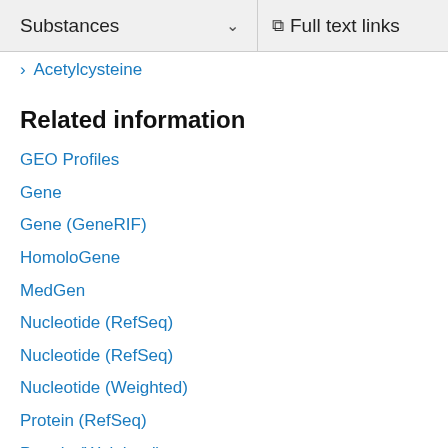Substances   Full text links
> Acetylcysteine
Related information
GEO Profiles
Gene
Gene (GeneRIF)
HomoloGene
MedGen
Nucleotide (RefSeq)
Nucleotide (RefSeq)
Nucleotide (Weighted)
Protein (RefSeq)
Protein (Weighted)
PubChem Compound
PubChem Compound (MeSH Keyword)
PubChem Substance